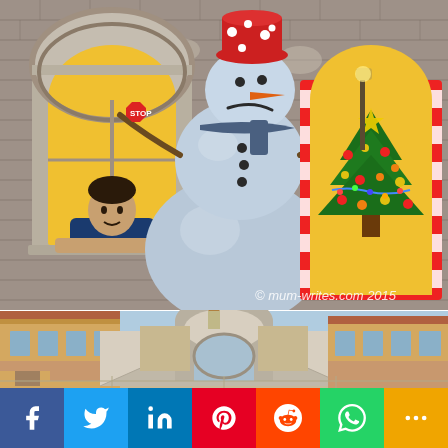[Figure (photo): Child peering through a window cutout in a Christmas mural featuring a large snowman with a red bucket hat, a decorated Christmas tree on the right, painted brick wall background. Watermark reads © mum-writes.com 2015]
[Figure (photo): Painted mural of a European-style street scene with colorful buildings, arches, and a bridge, resembling Venice.]
f  Twitter  in  P  reddit  WhatsApp  +